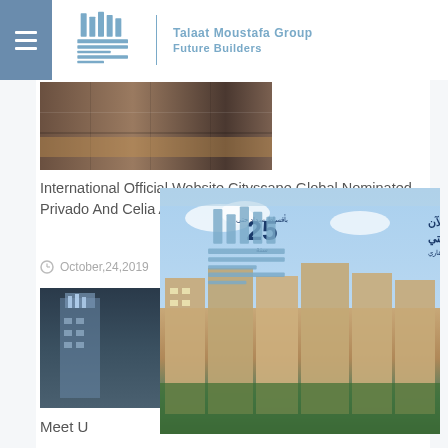Talaat Moustafa Group Future Builders
[Figure (photo): Building exterior photo strip at top]
International Official Website Cityscape Global Nominated Privado And Celia As Picks Of The Month
October,24,2019
[Figure (photo): Building/tower photo on lower left]
[Figure (photo): Arabic language real estate advertisement overlay showing residential buildings with Arabic text and 25 year payment plan]
[Figure (logo): Talaat Moustafa Group logo watermark in center]
Meet U